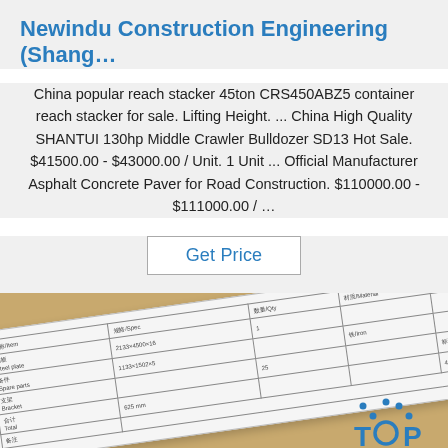Newindu Construction Engineering (Shang…
China popular reach stacker 45ton CRS450ABZ5 container reach stacker for sale. Lifting Height. ... China High Quality SHANTUI 130hp Middle Crawler Bulldozer SD13 Hot Sale. $41500.00 - $43000.00 / Unit. 1 Unit ... Official Manufacturer Asphalt Concrete Paver for Road Construction. $110000.00 - $111000.00 / …
Get Price
[Figure (photo): Photograph of a document/specification sheet on a gold/brass metallic surface, with a 'TOP' branded logo in the bottom right corner and a handwritten signature at the bottom.]